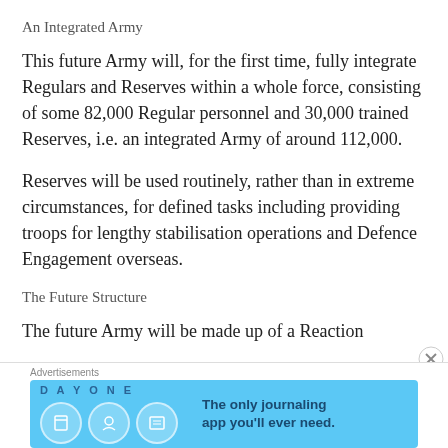An Integrated Army
This future Army will, for the first time, fully integrate Regulars and Reserves within a whole force, consisting of some 82,000 Regular personnel and 30,000 trained Reserves, i.e. an integrated Army of around 112,000.
Reserves will be used routinely, rather than in extreme circumstances, for defined tasks including providing troops for lengthy stabilisation operations and Defence Engagement overseas.
The Future Structure
The future Army will be made up of a Reaction